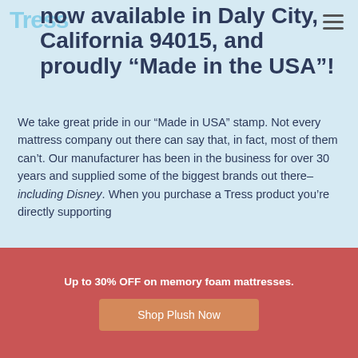now available in Daly City, California 94015, and proudly “Made in the USA”!
We take great pride in our “Made in USA” stamp. Not every mattress company out there can say that, in fact, most of them can’t. Our manufacturer has been in the business for over 30 years and supplied some of the biggest brands out there–including Disney. When you purchase a Tress product you’re directly supporting
Up to 30% OFF on memory foam mattresses.
Shop Plush Now